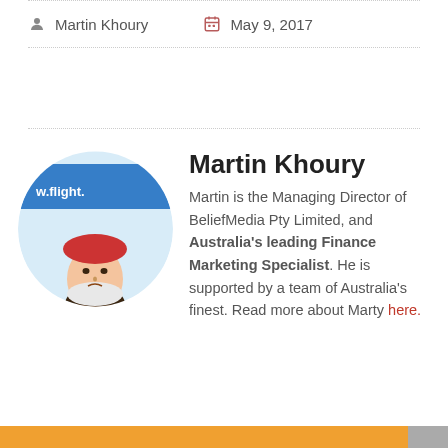Martin Khoury   May 9, 2017
[Figure (photo): Circular profile photo of Martin Khoury, shown upside down, with text 'w.flight.' visible in blue on the image]
Martin Khoury
Martin is the Managing Director of BeliefMedia Pty Limited, and Australia's leading Finance Marketing Specialist. He is supported by a team of Australia's finest. Read more about Marty here.